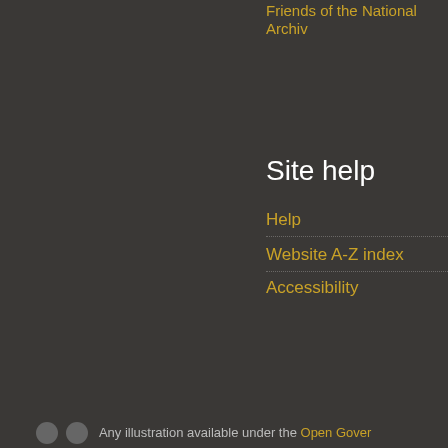Friends of the National Archive
Site help
Help
Website A-Z index
Accessibility
Any illustration available under the Open Government...